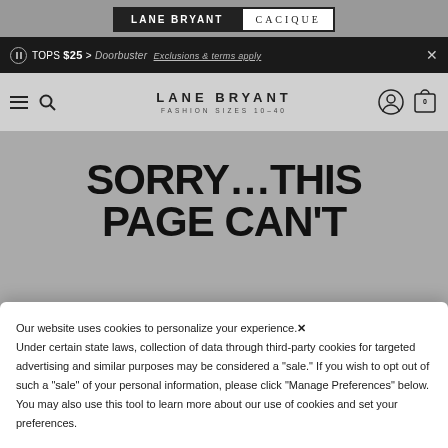LANE BRYANT | CACIQUE
TOPS $25 > Doorbuster Exclusions & terms apply ×
LANE BRYANT FASHION SIZES 10-40
SORRY…THIS PAGE CAN'T
Our website uses cookies to personalize your experience. × Under certain state laws, collection of data through third-party cookies for targeted advertising and similar purposes may be considered a "sale." If you wish to opt out of such a "sale" of your personal information, please click "Manage Preferences" below. You may also use this tool to learn more about our use of cookies and set your preferences.